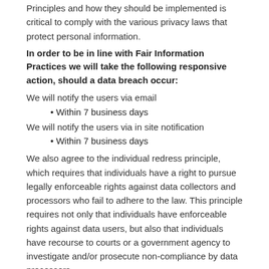Principles and how they should be implemented is critical to comply with the various privacy laws that protect personal information.
In order to be in line with Fair Information Practices we will take the following responsive action, should a data breach occur:
We will notify the users via email
Within 7 business days
We will notify the users via in site notification
Within 7 business days
We also agree to the individual redress principle, which requires that individuals have a right to pursue legally enforceable rights against data collectors and processors who fail to adhere to the law. This principle requires not only that individuals have enforceable rights against data users, but also that individuals have recourse to courts or a government agency to investigate and/or prosecute non-compliance by data processors.